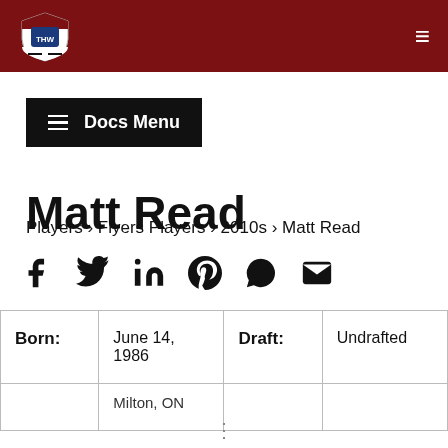THW Hockey Writers logo header with navigation
≡ Docs Menu
Matt Read
Players › Flyers Players › 2010s › Matt Read
[Figure (other): Social share icons: Facebook, Twitter, LinkedIn, Pinterest, WhatsApp, Email]
| Born: | June 14, 1986 | Draft: | Undrafted |
| --- | --- | --- | --- |
|  | Milton, ON |  |  |